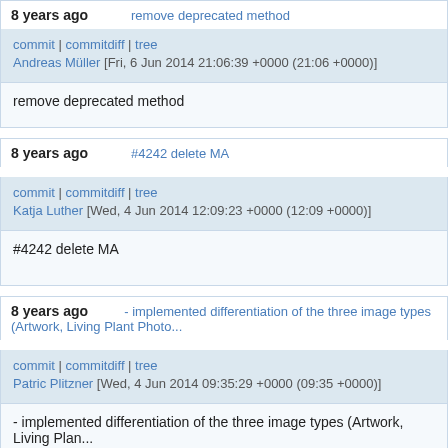8 years ago   remove deprecated method
commit | commitdiff | tree
Andreas Müller [Fri, 6 Jun 2014 21:06:39 +0000 (21:06 +0000)]
remove deprecated method
8 years ago   #4242 delete MA
commit | commitdiff | tree
Katja Luther [Wed, 4 Jun 2014 12:09:23 +0000 (12:09 +0000)]
#4242 delete MA
8 years ago   - implemented differentiation of the three image types (Artwork, Living Plant Photo...
commit | commitdiff | tree
Patric Plitzner [Wed, 4 Jun 2014 09:35:29 +0000 (09:35 +0000)]
- implemented differentiation of the three image types (Artwork, Living Plan...